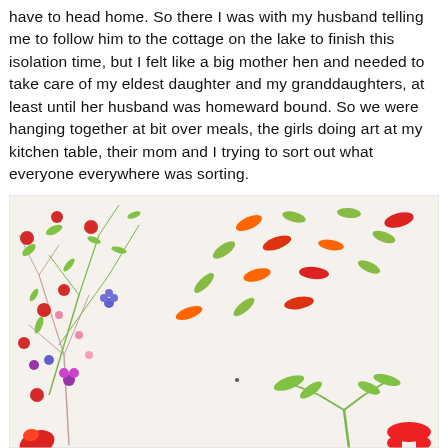have to head home. So there I was with my husband telling me to follow him to the cottage on the lake to finish this isolation time, but I felt like a big mother hen and needed to take care of my eldest daughter and my granddaughters, at least until her husband was homeward bound. So we were hanging together at bit over meals, the girls doing art at my kitchen table, their mom and I trying to sort out what everyone everywhere was sorting.
[Figure (photo): A photograph of children's artwork on white paper, showing painted flowers, berries, leaves, and plants in red, orange, green, and purple colors. The artwork appears to be a nature-themed painting with floral and botanical elements scattered across the page.]